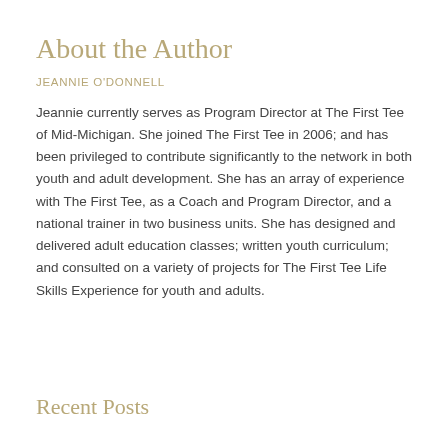About the Author
JEANNIE O'DONNELL
Jeannie currently serves as Program Director at The First Tee of Mid-Michigan. She joined The First Tee in 2006; and has been privileged to contribute significantly to the network in both youth and adult development. She has an array of experience with The First Tee, as a Coach and Program Director, and a national trainer in two business units. She has designed and delivered adult education classes; written youth curriculum; and consulted on a variety of projects for The First Tee Life Skills Experience for youth and adults.
Recent Posts